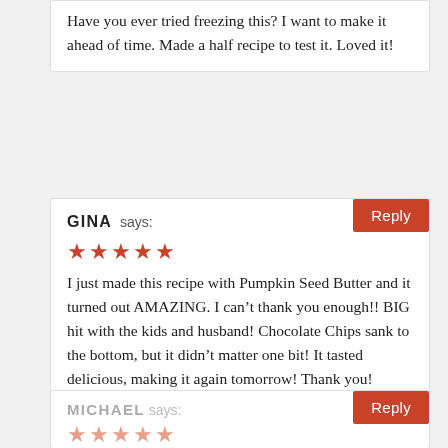Have you ever tried freezing this? I want to make it ahead of time. Made a half recipe to test it. Loved it!
GINA says:
[Figure (other): 5 red star rating icons]
I just made this recipe with Pumpkin Seed Butter and it turned out AMAZING. I can't thank you enough!! BIG hit with the kids and husband! Chocolate Chips sank to the bottom, but it didn't matter one bit! It tasted delicious, making it again tomorrow! Thank you!
MICHAEL says:
[Figure (other): 5 faded/light red star rating icons]